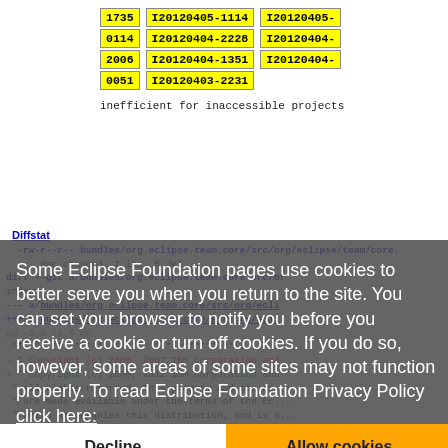1735  I20120405-1114  I20120405-
0114  I20120404-2228  I20120404-
2006  I20120404-1351  I20120404-
0051  I20120403-2231
inefficient for inaccessible projects
Diffstat
-rw-r--r-- bundles/org.eclipse.team.core/src/org/eclipse/team/core...
... doc changed, 7 ins, 5 del...
diff --git a/bundles/org.eclipse.team.core/src/or...
index ...
--- a/bundles/org.eclipse.team.core/src/org/ecli...
+++ b/bundles/org.eclipse.team.core/src/org/ecli...
@@ -1,5 +1,5 @@
 ************************...
- * Copyright (c) 2000, 2007 IBM Corporation and
+ * Copyright (c) 2000, 2012 IBM Corporation and
 * All rights reserved. This program and the ac...
 * are made available under the terms of the Ec...
 * which accompanies this distribution, and is a...
@@ -488,7 +488,7 @@ public abstract class Reposit
Some Eclipse Foundation pages use cookies to better serve you when you return to the site. You can set your browser to notify you before you receive a cookie or turn off cookies. If you do so, however, some areas of some sites may not function properly. To read Eclipse Foundation Privacy Policy click here: